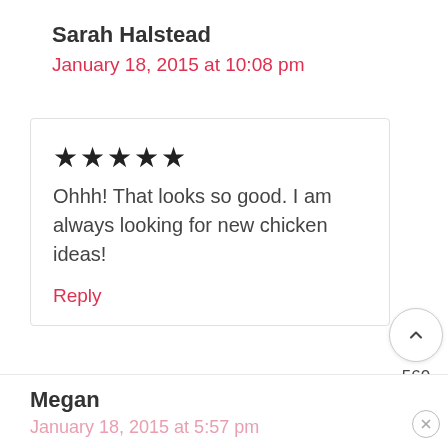Sarah Halstead
January 18, 2015 at 10:08 pm
★★★★★
Ohhh! That looks so good. I am always looking for new chicken ideas!
Reply
560
Megan
January 18, 2015 at 5:57 pm